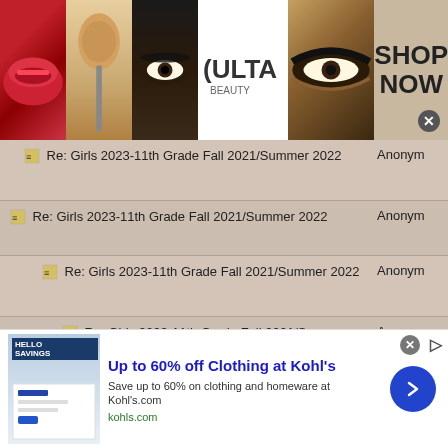[Figure (photo): Ulta Beauty advertisement banner with makeup photos (lips, brush, eye), Ulta logo, and 'SHOP NOW' text]
Re: Girls 2023-11th Grade Fall 2021/Summer 2022 | Anonymous
Re: Girls 2023-11th Grade Fall 2021/Summer 2022 | Anonymous
Re: Girls 2023-11th Grade Fall 2021/Summer 2022 | Anonymous
Re: Girls 2023-11th Grade Fall 2021/Summer 2022 | Anonymous
Re: Girls 2023-11th Grade Fall 2021/Summer 2022 | Anonymous
Re: Girls 2023-11th Grade Fall 2021/Summer 2022 | Anonymous
Re: Girls 2023-11th Grade Fall 2021/Summer 2022 | Anonymous
[Figure (screenshot): Kohl's advertisement: 'Up to 60% off Clothing at Kohl's', Save up to 60% on clothing and homeware at Kohl's.com, kohls.com, with blue arrow button]